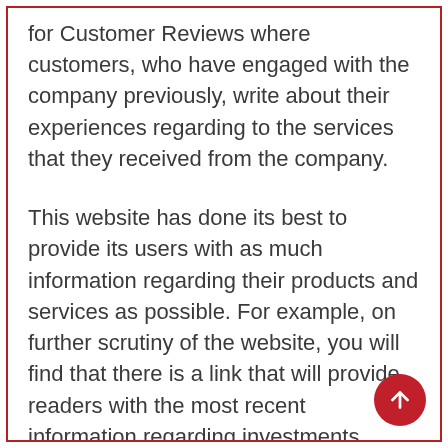for Customer Reviews where customers, who have engaged with the company previously, write about their experiences regarding to the services that they received from the company.
This website has done its best to provide its users with as much information regarding their products and services as possible. For example, on further scrutiny of the website, you will find that there is a link that will provide readers with the most recent information regarding investments.
Jason Bodner, one of the editors of the company but who initially worked for Wall Street, writes about the secrets that the rich have been using when investing in stocks to make sure that th